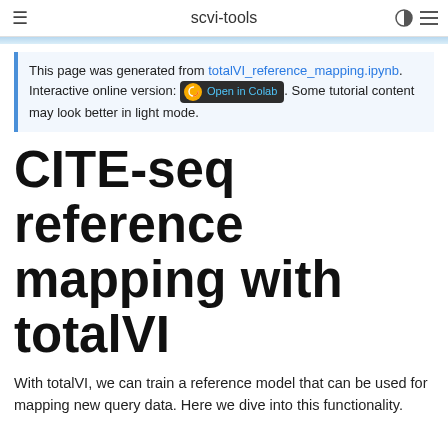scvi-tools
This page was generated from totalVI_reference_mapping.ipynb. Interactive online version: [Open in Colab]. Some tutorial content may look better in light mode.
CITE-seq reference mapping with totalVI
With totalVI, we can train a reference model that can be used for mapping new query data. Here we dive into this functionality.